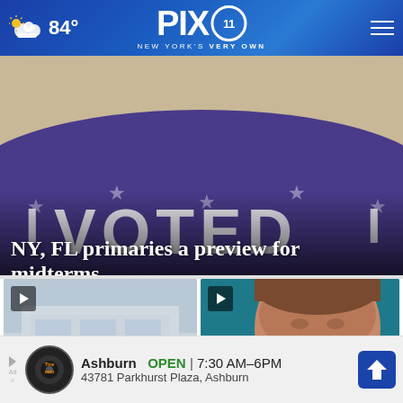PIX 11 NEW YORK'S VERY OWN | 84°
[Figure (photo): Close-up of 'I VOTED' sticker with stars on purple/blue background]
NY, FL primaries a preview for midterms
[Figure (photo): Video thumbnail of building exterior (Kick story)]
[Figure (photo): Video thumbnail of man's face close-up with close button]
Ashburn  OPEN  7:30 AM–6PM  43781 Parkhurst Plaza, Ashburn